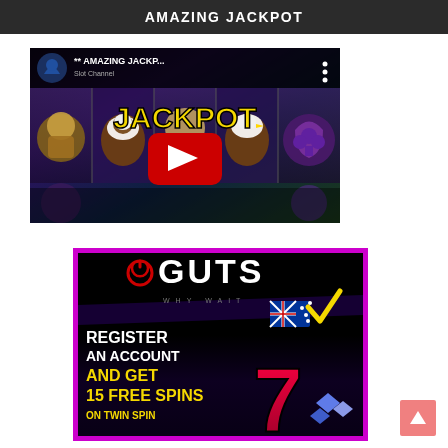AMAZING JACKPOT
[Figure (screenshot): YouTube video thumbnail showing '** AMAZING JACKP...' title with slot machine graphics, JACKPOT yellow text, and a red YouTube play button in the center]
[Figure (screenshot): GUTS casino advertisement with pink/magenta border. Shows GUTS logo with tagline 'WHY WAIT', Australian flag with checkmark, text 'REGISTER AN ACCOUNT AND GET 15 FREE SPINS ON TWIN SPIN', and a lucky 7 slot symbol]
[Figure (other): Scroll-to-top button (pink/salmon colored with upward arrow)]